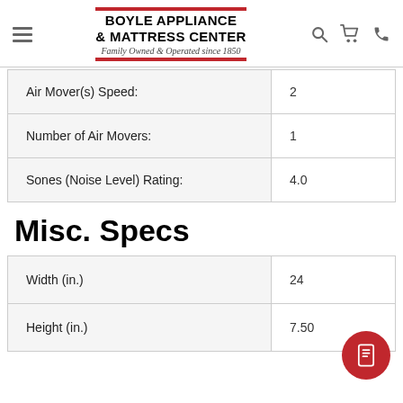BOYLE APPLIANCE & MATTRESS CENTER — Family Owned & Operated since 1850
| Spec | Value |
| --- | --- |
| Air Mover(s) Speed: | 2 |
| Number of Air Movers: | 1 |
| Sones (Noise Level) Rating: | 4.0 |
Misc. Specs
| Spec | Value |
| --- | --- |
| Width (in.) | 24 |
| Height (in.) | 7.50 |